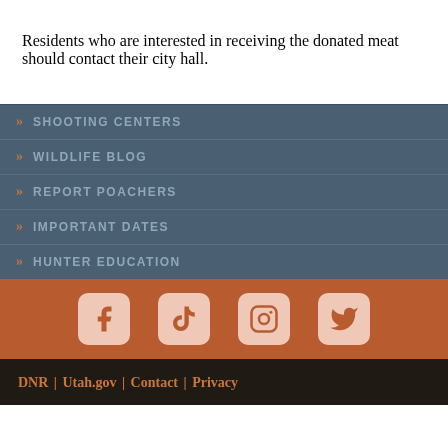Residents who are interested in receiving the donated meat should contact their city hall.
» SHOOTING CENTERS
» WILDLIFE BLOG
» REPORT POACHERS
» IMPORTANT DATES
» HUNTER EDUCATION
[Figure (infographic): Social media icons row: Facebook, TikTok, Instagram, Twitter on orange/rust background]
DNR | Utah.gov | Contact | Privacy